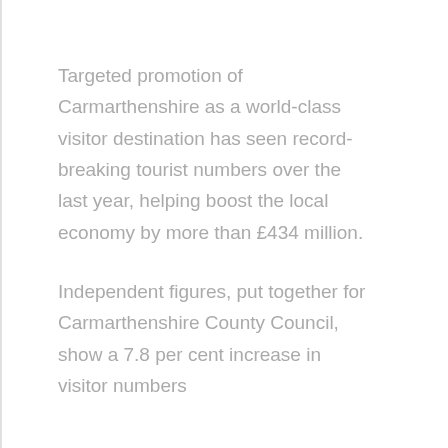Targeted promotion of Carmarthenshire as a world-class visitor destination has seen record-breaking tourist numbers over the last year, helping boost the local economy by more than £434 million.
Independent figures, put together for Carmarthenshire County Council, show a 7.8 per cent increase in visitor numbers